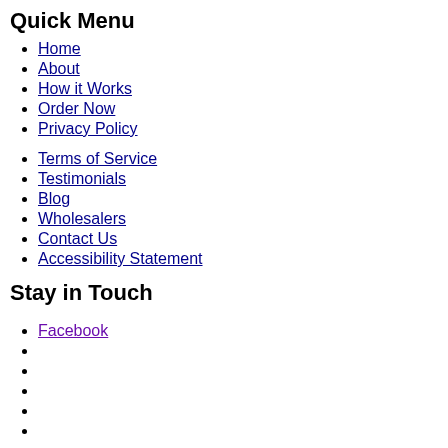Quick Menu
Home
About
How it Works
Order Now
Privacy Policy
Terms of Service
Testimonials
Blog
Wholesalers
Contact Us
Accessibility Statement
Stay in Touch
Facebook